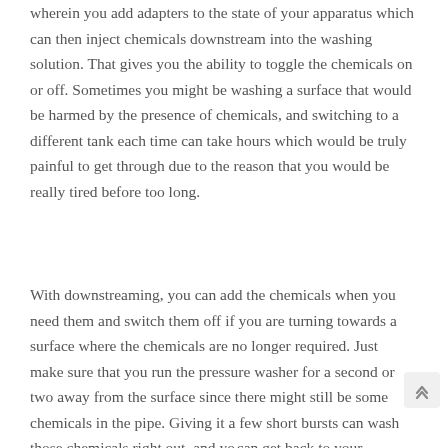wherein you add adapters to the state of your apparatus which can then inject chemicals downstream into the washing solution. That gives you the ability to toggle the chemicals on or off. Sometimes you might be washing a surface that would be harmed by the presence of chemicals, and switching to a different tank each time can take hours which would be truly painful to get through due to the reason that you would be really tired before too long.
With downstreaming, you can add the chemicals when you need them and switch them off if you are turning towards a surface where the chemicals are no longer required. Just make sure that you run the pressure washer for a second or two away from the surface since there might still be some chemicals in the pipe. Giving it a few short bursts can wash those chemicals right out, and you can get back to your pressure washing with ease. This is a highly convenient method that benefits pressure washers